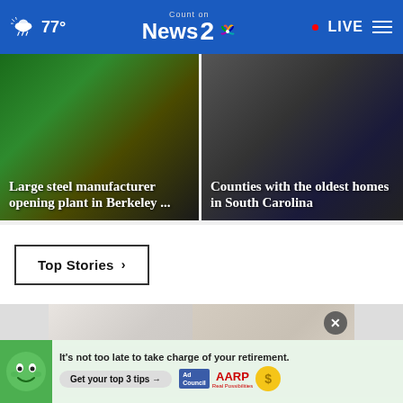77° Count on News 2 NBC · LIVE
[Figure (photo): News thumbnail: Large steel manufacturer opening plant in Berkeley ...]
[Figure (photo): News thumbnail: Counties with the oldest homes in South Carolina]
Large steel manufacturer opening plant in Berkeley ...
Counties with the oldest homes in South Carolina
Top Stories ›
[Figure (photo): Shoe/fashion product image with close button]
[Figure (infographic): Ad banner: It's not too late to take charge of your retirement. Get your top 3 tips → Ad Council AARP Real Possibilities]